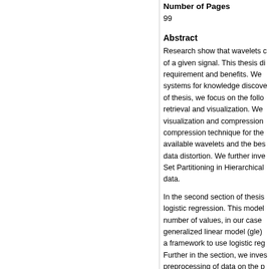Number of Pages
99
Abstract
Research show that wavelets c of a given signal. This thesis di requirement and benefits. We systems for knowledge discove of thesis, we focus on the follo retrieval and visualization. We visualization and compression compression technique for the available wavelets and the bes data distortion. We further inve Set Partitioning in Hierarchical data.
In the second section of thesis logistic regression. This model number of values, in our case generalized linear model (gle) a framework to use logistic reg Further in the section, we inves preprocessing of data on the p regression-wavelet model is pr